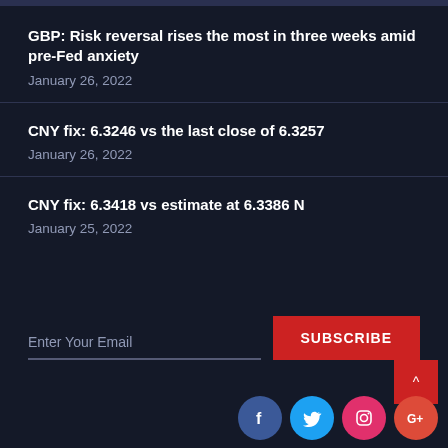GBP: Risk reversal rises the most in three weeks amid pre-Fed anxiety
January 26, 2022
CNY fix: 6.3246 vs the last close of 6.3257
January 26, 2022
CNY fix: 6.3418 vs estimate at 6.3386 N
January 25, 2022
Enter Your Email
SUBSCRIBE